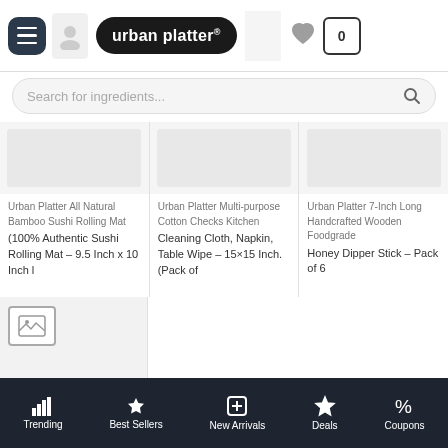[Figure (screenshot): Urban Platter e-commerce mobile app screenshot showing navigation bar with hamburger menu, logo pill, user icon, heart icon, cart with 0 items, search bar, product grid with two rows of product cards, and bottom navigation bar with Trending, Best Sellers, New Arrivals, Deals, Coupons]
urban platter®
Search for ingredients...
(100% Authentic Sushi Rolling Mat – 9.5 Inch x 10 Inch l
Urban Platter Multi-purpose Cotton Checks Kitchen Cleaning Cloth, Napkin, Table Wipe – 15×15 Inch. (Pack of
Urban Platter 7-Inch Long Handcrafted Wooden Foodgrade Honey Dipper Stick – Pack of 6
Urban Platter Unsweetened Coconut Milk, 250ml (Pack of 6) + Urban Platter Coconut Cream, 250ml (Pack
Trending    Best Sellers    New Arrivals    Deals    Coupons